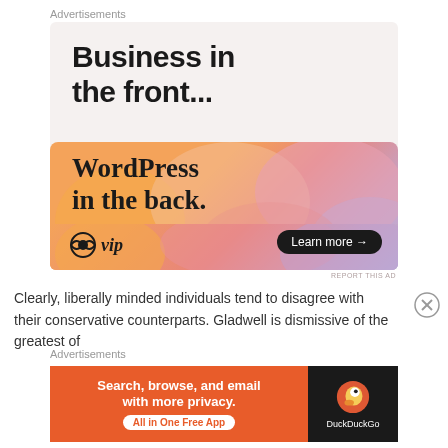Advertisements
[Figure (illustration): WordPress VIP advertisement. White/light gray background with bold text 'Business in the front...' at top, then an orange-to-pink-to-purple gradient band with text 'WordPress in the back.' and WordPress VIP logo on the left, 'Learn more →' button on the right.]
REPORT THIS AD
Clearly, liberally minded individuals tend to disagree with their conservative counterparts. Gladwell is dismissive of the greatest of
Advertisements
[Figure (illustration): DuckDuckGo advertisement. Left side: orange background with white text 'Search, browse, and email with more privacy.' and white pill button 'All in One Free App'. Right side: dark background with DuckDuckGo duck logo and 'DuckDuckGo' text.]
REPORT THIS AD